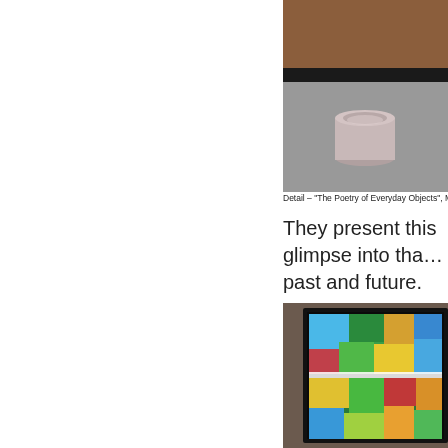[Figure (photo): Close-up detail photograph showing a weathered concrete wall with a cylindrical object (pipe or tube) against a dark background, likely displayed in an art gallery setting]
Detail – "The Poetry of Everyday Objects", Mi…
They present this glimpse into tha… past and future.
[Figure (photo): Photograph of a framed artwork on a gallery wall showing colorful abstract patterns with bright multicolored shapes (green, yellow, blue, orange, red), with a bright light reflection/glare visible on the artwork's surface]